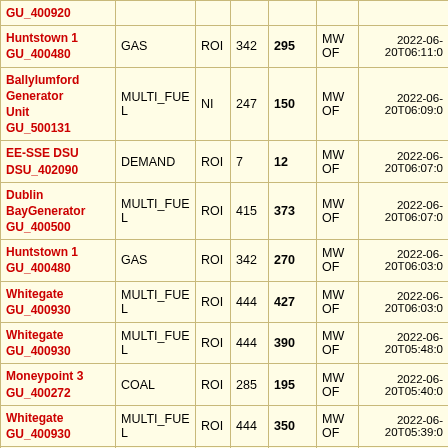| Name/ID | Fuel | Region | Max | Current | Unit | Timestamp |
| --- | --- | --- | --- | --- | --- | --- |
| Huntstown 1 GU_400480 | GAS | ROI | 342 | 295 | MWOF | 2022-06-20T06:11:0... |
| Ballylumford Generator Unit GU_500131 | MULTI_FUEL | NI | 247 | 150 | MWOF | 2022-06-20T06:09:0... |
| EE-SSE DSU DSU_402090 | DEMAND | ROI | 7 | 12 | MWOF | 2022-06-20T06:07:0... |
| Dublin BayGenerator GU_400500 | MULTI_FUEL | ROI | 415 | 373 | MWOF | 2022-06-20T06:07:0... |
| Huntstown 1 GU_400480 | GAS | ROI | 342 | 270 | MWOF | 2022-06-20T06:03:0... |
| Whitegate GU_400930 | MULTI_FUEL | ROI | 444 | 427 | MWOF | 2022-06-20T06:03:0... |
| Whitegate GU_400930 | MULTI_FUEL | ROI | 444 | 390 | MWOF | 2022-06-20T05:48:0... |
| Moneypoint 3 GU_400272 | COAL | ROI | 285 | 195 | MWOF | 2022-06-20T05:40:0... |
| Whitegate GU_400930 | MULTI_FUEL | ROI | 444 | 350 | MWOF | 2022-06-20T05:39:0... |
| Sealrock 4 | MULTI_FUEL | ROI | 83 | 80 | MWOF | 2022-06-20T05:35:0... |